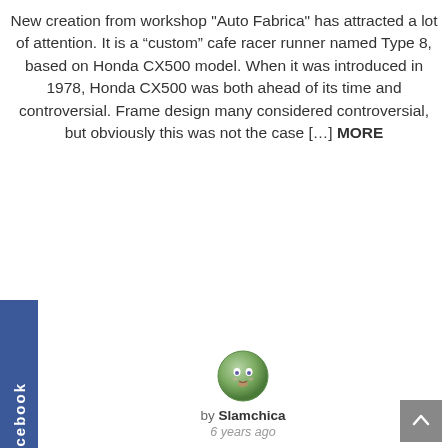New creation from workshop "Auto Fabrica" has attracted a lot of attention. It is a “custom” cafe racer runner named Type 8, based on Honda CX500 model. When it was introduced in 1978, Honda CX500 was both ahead of its time and controversial. Frame design many considered controversial, but obviously this was not the case [...] MORE
[Figure (illustration): Small round avatar icon of a cartoon face (Slamchica user avatar)]
by Slamchica
6 years ago
[Figure (screenshot): Facebook sidebar tab on left side, dark blue with vertical text reading Facebook]
[Figure (screenshot): Gray content area below author block, likely a loading or placeholder image area]
[Figure (screenshot): Scroll-to-top button in bottom right corner, dark gray square with upward arrow]